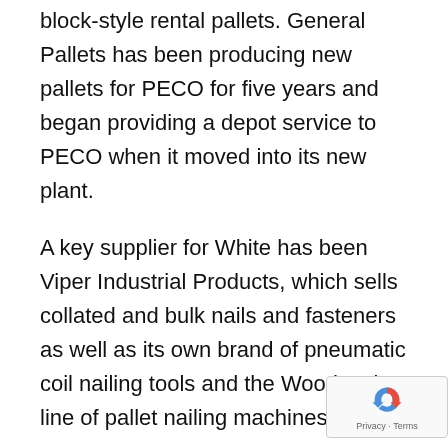block-style rental pallets. General Pallets has been producing new pallets for PECO for five years and began providing a depot service to PECO when it moved into its new plant.
A key supplier for White has been Viper Industrial Products, which sells collated and bulk nails and fasteners as well as its own brand of pneumatic coil nailing tools and the Woodpecker line of pallet nailing machines.
Viper Helps General Pallets Improve Its Operations
White has been doing business with Todd Mazur, owner and president of Viper Industrial